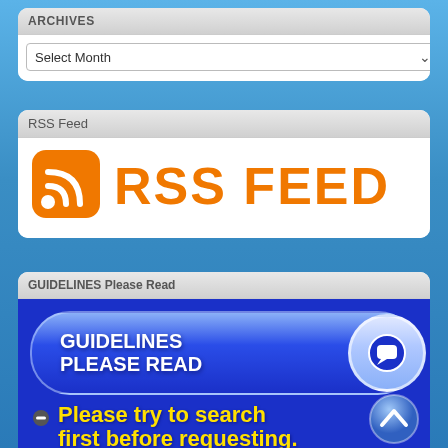ARCHIVES
Select Month
RSS Feed
[Figure (logo): RSS Feed logo with orange RSS icon and orange bold text 'RSS FEED']
GUIDELINES Please Read
[Figure (infographic): Blue banner with white text 'GUIDELINES PLEASE READ' and speech bubble icon, yellow text 'Please try to search first before requesting.' with minus bullet, and up-arrow navigation button]